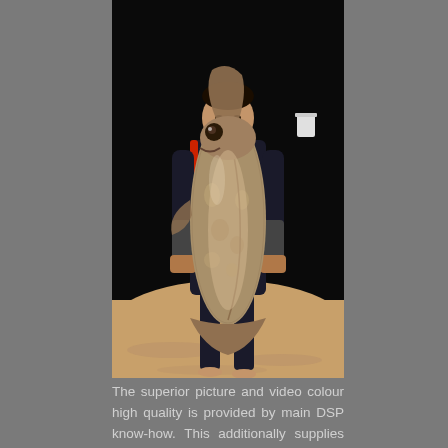[Figure (photo): Night photograph of a person standing on a sandy beach holding a large fish (appears to be a large bream or similar species) upright in front of them. The background is dark/black sky, the person is wearing dark clothing with red accents. The fish is very large, nearly as tall as the person's torso.]
The superior picture and video colour high quality is provided by main DSP know-how. This additionally supplies the fastest automatic exposure adjustment of any wearable digital